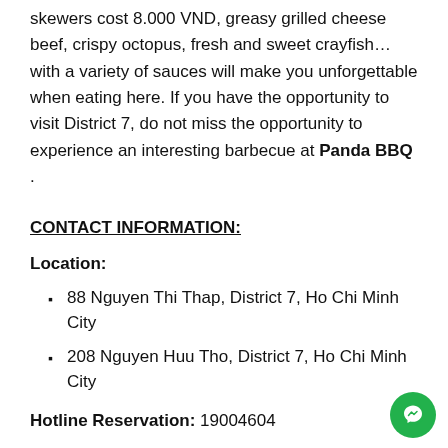skewers cost 8.000 VND, greasy grilled cheese beef, crispy octopus, fresh and sweet crayfish… with a variety of sauces will make you unforgettable when eating here. If you have the opportunity to visit District 7, do not miss the opportunity to experience an interesting barbecue at Panda BBQ .
CONTACT INFORMATION:
Location:
88 Nguyen Thi Thap, District 7, Ho Chi Minh City
208 Nguyen Huu Tho, District 7, Ho Chi Minh City
Hotline Reservation: 19004604
Facebook: https://www.facebook.com/PandaBBQpage